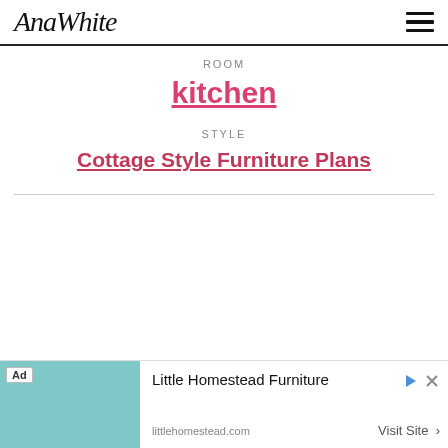AnaWhite
ROOM
kitchen
STYLE
Cottage Style Furniture Plans
[Figure (other): Advertisement banner for Little Homestead Furniture from littlehomestead.com with Visit Site button]